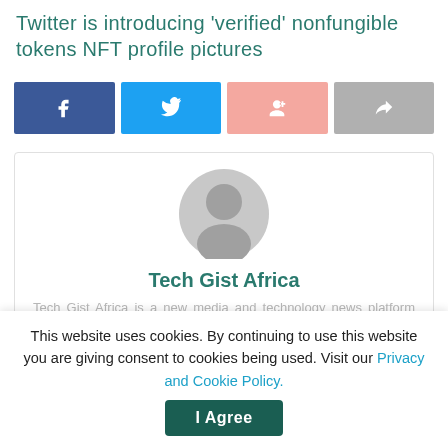Twitter is introducing 'verified' nonfungible tokens NFT profile pictures
[Figure (infographic): Social share buttons: Facebook (dark blue), Twitter (light blue), Google+ (pink/salmon), Share (gray)]
[Figure (illustration): Author card with gray avatar icon, name 'Tech Gist Africa' in teal, and description text]
Tech Gist Africa
Tech Gist Africa is a new media and technology news platform that focuses on the untold stories of innovative
This website uses cookies. By continuing to use this website you are giving consent to cookies being used. Visit our Privacy and Cookie Policy.